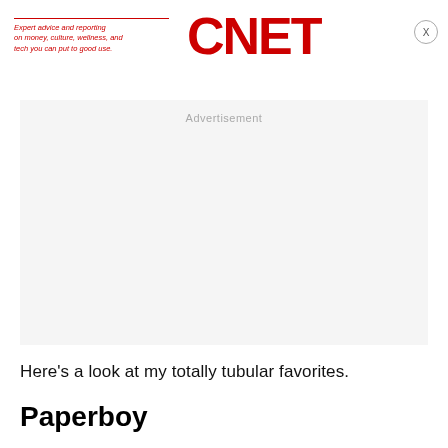Expert advice and reporting on money, culture, wellness, and tech you can put to good use. CNET
[Figure (other): Advertisement placeholder box with light gray background]
Here's a look at my totally tubular favorites.
Paperboy